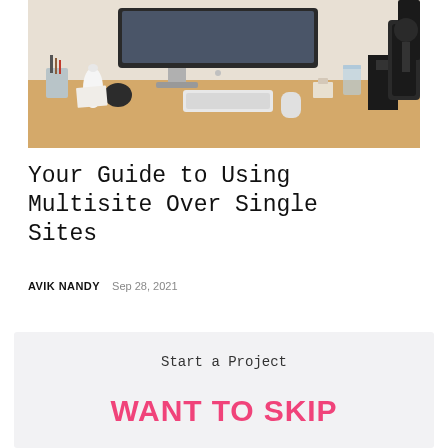[Figure (photo): Workspace desk with iMac computer, keyboard, mouse, and various desk accessories on a wooden surface]
Your Guide to Using Multisite Over Single Sites
AVIK NANDY  Sep 28, 2021
Start a Project
WANT TO SKIP